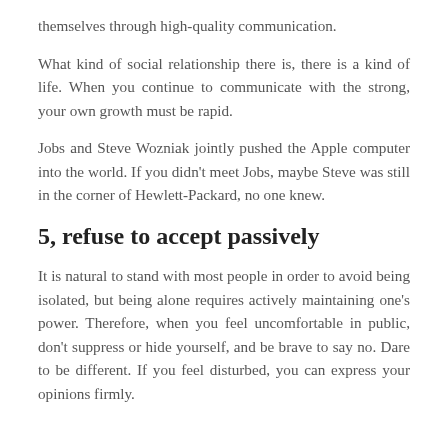themselves through high-quality communication.
What kind of social relationship there is, there is a kind of life. When you continue to communicate with the strong, your own growth must be rapid.
Jobs and Steve Wozniak jointly pushed the Apple computer into the world. If you didn't meet Jobs, maybe Steve was still in the corner of Hewlett-Packard, no one knew.
5, refuse to accept passively
It is natural to stand with most people in order to avoid being isolated, but being alone requires actively maintaining one's power. Therefore, when you feel uncomfortable in public, don't suppress or hide yourself, and be brave to say no. Dare to be different. If you feel disturbed, you can express your opinions firmly.